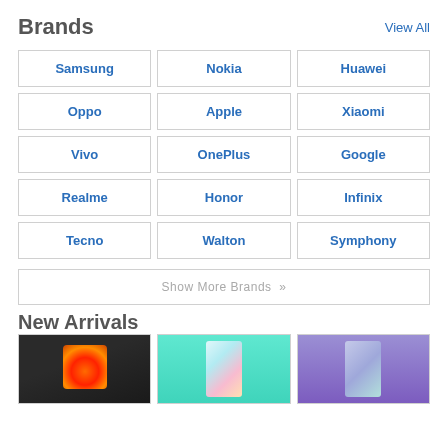Brands
View All
Samsung
Nokia
Huawei
Oppo
Apple
Xiaomi
Vivo
OnePlus
Google
Realme
Honor
Infinix
Tecno
Walton
Symphony
Show More Brands »
New Arrivals
[Figure (photo): Rugged smartphone with orange/lava design on dark body]
[Figure (photo): Teal/mint colored smartphone with colorful screen]
[Figure (photo): Purple/violet colored smartphone]